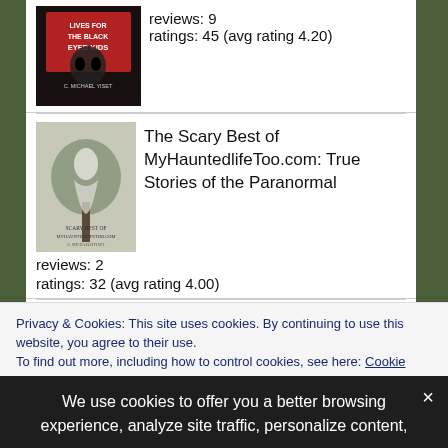reviews: 9
ratings: 45 (avg rating 4.20)
[Figure (illustration): Book cover for a horror book about black eyed kids, dark background with face]
The Scary Best of MyHauntedlifeToo.com: True Stories of the Paranormal
reviews: 2
ratings: 32 (avg rating 4.00)
Other Posts You Might Enjoy?
Privacy & Cookies: This site uses cookies. By continuing to use this website, you agree to their use.
To find out more, including how to control cookies, see here: Cookie Policy
We use cookies to offer you a better browsing experience, analyze site traffic, personalize content,